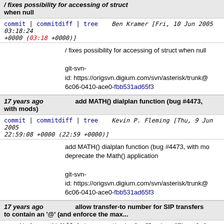/ fixes possibility for accessing of struct when null (partial header)
commit | commitdiff | tree   Ben Kramer [Fri, 10 Jun 2005 03:18:24 +0000 (03:18 +0000)]
/ fixes possibility for accessing of struct when null

git-svn-id: https://origsvn.digium.com/svn/asterisk/trunk@6c06-0410-ace0-fbb531ad65f3
17 years ago   add MATH() dialplan function (bug #4473, with mods)
commit | commitdiff | tree   Kevin P. Fleming [Thu, 9 Jun 2005 22:59:08 +0000 (22:59 +0000)]
add MATH() dialplan function (bug #4473, with mods); deprecate the Math() application

git-svn-id: https://origsvn.digium.com/svn/asterisk/trunk@6c06-0410-ace0-fbb531ad65f3
17 years ago   allow transfer-to number for SIP transfers to contain an '@' (and enforce the max...
commit | commitdiff | tree   Kevin P. Fleming [Thu, 9 Jun 2005 22:41:18 +0000 (22:41 +0000)]